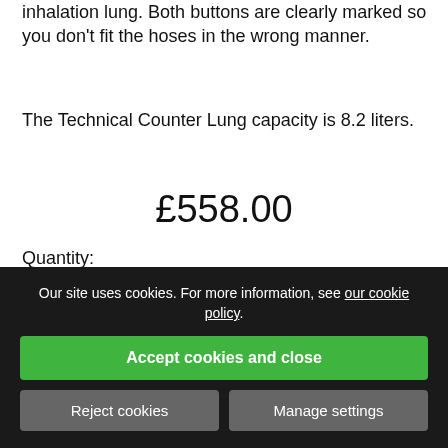inhalation lung. Both buttons are clearly marked so you don't fit the hoses in the wrong manner.
The Technical Counter Lung capacity is 8.2 liters.
£558.00
Quantity:
Our site uses cookies. For more information, see our cookie policy.
Accept cookies and close
Reject cookies
Manage settings